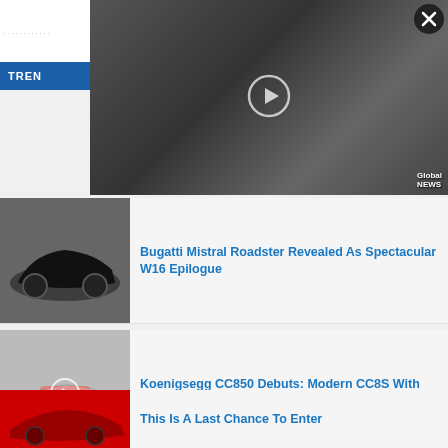G...............m
TREN...
[Figure (screenshot): Video overlay with play button, close X button, gear icon, and Global News watermark. Shows street scene footage.]
[Figure (photo): Black Bugatti Mistral Roadster supercar at an outdoor event]
Bugatti Mistral Roadster Revealed As Spectacular W16 Epilogue
[Figure (photo): White Koenigsegg CC850 supercar at an outdoor show with crowd]
Koenigsegg CC850 Debuts: Modern CC8S With 1,385 HP And A Manual Trans
[Figure (photo): Red supercar partially visible at bottom of page]
This Is A Last Chance To Enter